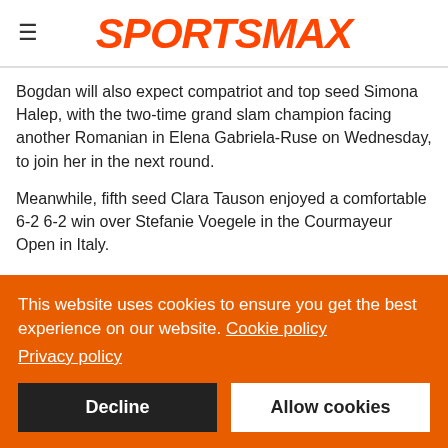SPORTSMAX
Bogdan will also expect compatriot and top seed Simona Halep, with the two-time grand slam champion facing another Romanian in Elena Gabriela-Ruse on Wednesday, to join her in the next round.
Meanwhile, fifth seed Clara Tauson enjoyed a comfortable 6-2 6-2 win over Stefanie Voegele in the Courmayeur Open in Italy.
Sixth seed Alison Riske and 10th seed Dayana Yastremska both won in straight sets to ensure there were no upsets in today's
This website uses cookies to ensure you get the best experience on our website. Cookie policy
Privacy policy
Decline
Allow cookies